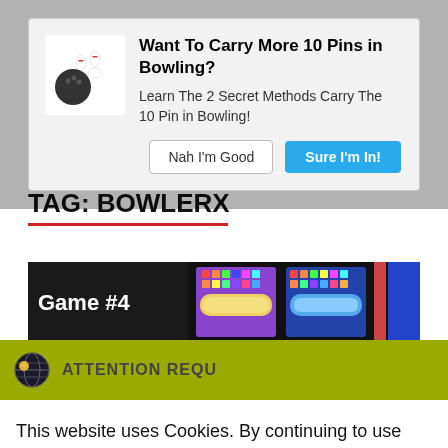[Figure (screenshot): Modal popup dialog asking 'Want To Carry More 10 Pins in Bowling?' with bowling ball and pins icon, body text 'Learn The 2 Secret Methods Carry The 10 Pin in Bowling!', and two buttons: 'Nah I'm Good' and 'Sure I'm In!']
TAG: BOWLERX
[Figure (screenshot): Partial screenshot of a bowling scoring app showing 'Game #4' with colorful scoreboard displays on dark background]
[Figure (screenshot): Cookie consent banner with olive/yellow-green header bar showing globe icon and 'ATTENTION REQU[IRED]' text, white body with message 'This website uses Cookies. By continuing to use our site, you consent to the use of cookies.' and two buttons: green 'Accept' and dark 'Privacy Center']